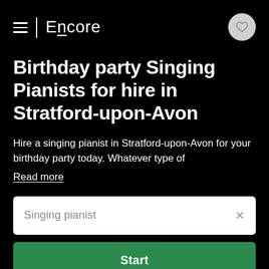Encore
Birthday party Singing Pianists for hire in Stratford-upon-Avon
Hire a singing pianist in Stratford-upon-Avon for your birthday party today. Whatever type of
Read more
Singing pianist
Start